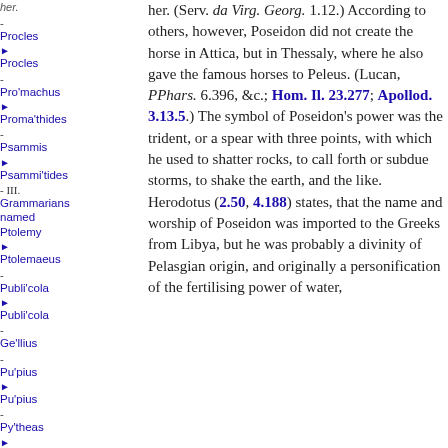Procles
► Procles
- Pro'machus
► Proma'thides
- Psammis
► Psammi'tides
- III. Grammarians named Ptolemy
► Ptolemaeus
- Publi'cola
► Publi'cola
- Ge'llius
- Pu'pius
► Pu'pius
- Py'theas
► Py'theas
- Pythoni'cus
► Q
her. (Serv. ad Virg. Georg. 1.12.) According to others, however, Poseidon did not create the horse in Attica, but in Thessaly, where he also gave the famous horses to Peleus. (Lucan, PPhars. 6.396, &c.; Hom. Il. 23.277; Apollod. 3.13.5.) The symbol of Poseidon's power was the trident, or a spear with three points, with which he used to shatter rocks, to call forth or subdue storms, to shake the earth, and the like. Herodotus (2.50, 4.188) states, that the name and worship of Poseidon was imported to the Greeks from Libya, but he was probably a divinity of Pelasgian origin, and originally a personification of the fertilising power of water, from which the tradition...